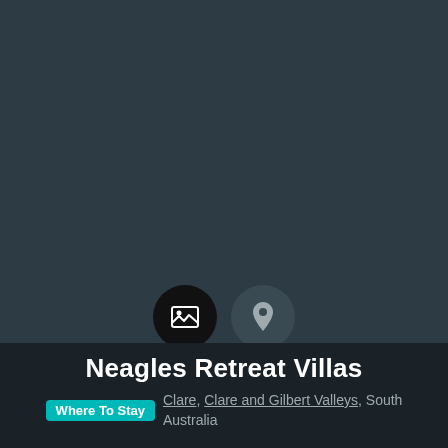[Figure (screenshot): Dark teal/slate colored map placeholder background with two circular icon buttons near the bottom center — one black circle with a photo/image icon and one dark gray circle with a location pin icon.]
Neagles Retreat Villas
Where To Stay   Clare, Clare and Gilbert Valleys, South Australia